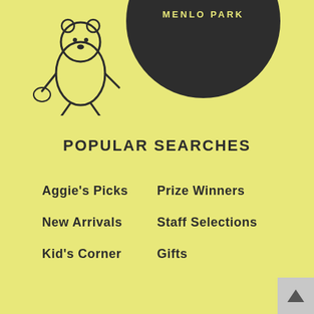[Figure (logo): Bookstore logo with illustrated character (bear or dog figure) on left and dark circular badge with text MENLO PARK on right, partially cropped at top of page]
POPULAR SEARCHES
Aggie's Picks
Prize Winners
New Arrivals
Staff Selections
Kid's Corner
Gifts